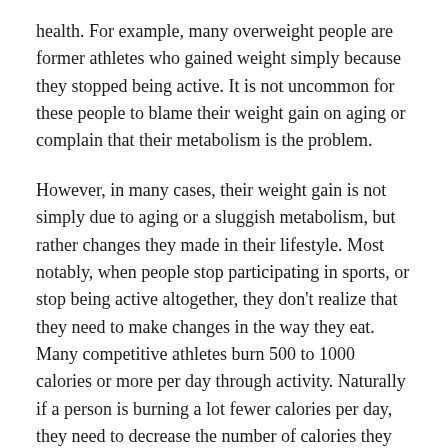health. For example, many overweight people are former athletes who gained weight simply because they stopped being active. It is not uncommon for these people to blame their weight gain on aging or complain that their metabolism is the problem.
However, in many cases, their weight gain is not simply due to aging or a sluggish metabolism, but rather changes they made in their lifestyle. Most notably, when people stop participating in sports, or stop being active altogether, they don't realize that they need to make changes in the way they eat. Many competitive athletes burn 500 to 1000 calories or more per day through activity. Naturally if a person is burning a lot fewer calories per day, they need to decrease the number of calories they consume, otherwise they will gain a lot of fat.
The reason I bring this up is because this is just one of many